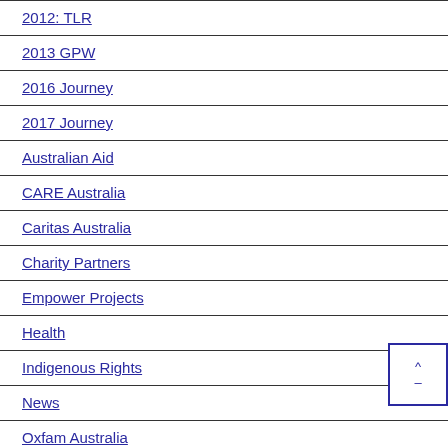2012: TLR
2013 GPW
2016 Journey
2017 Journey
Australian Aid
CARE Australia
Caritas Australia
Charity Partners
Empower Projects
Health
Indigenous Rights
News
Oxfam Australia